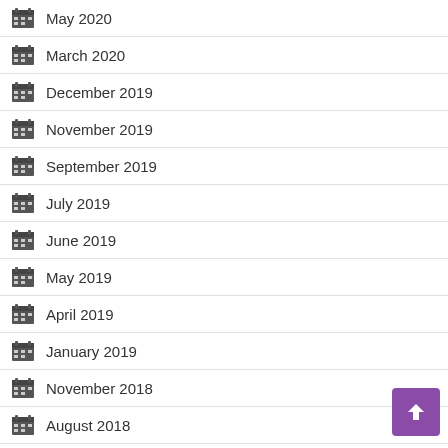May 2020
March 2020
December 2019
November 2019
September 2019
July 2019
June 2019
May 2019
April 2019
January 2019
November 2018
August 2018
June 2018